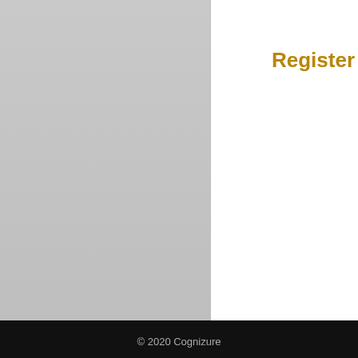Register FREE
energy. T... chain. We...
Keywords
Mobility ec...
© 2020 Cognizure